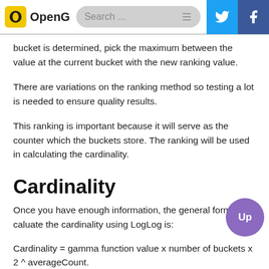OpenG | Search...
bucket is determined, pick the maximum between the value at the current bucket with the new ranking value.
There are variations on the ranking method so testing a lot is needed to ensure quality results.
This ranking is important because it will serve as the counter which the buckets store. The ranking will be used in calculating the cardinality.
Cardinality
Once you have enough information, the general formula to caluate the cardinality using LogLog is:
Average count is calculated by summing up all the values in the